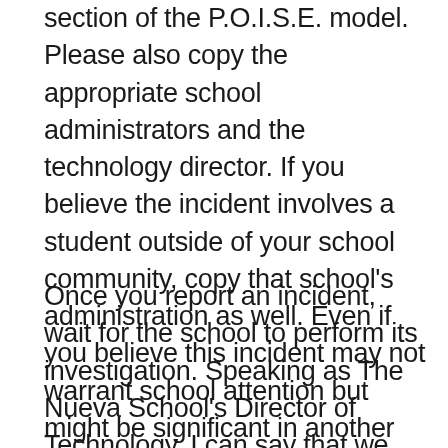section of the P.O.I.S.E. model. Please also copy the appropriate school administrators and the technology director. If you believe the incident involves a student outside of your school community, copy that school's administration as well. Even if you believe this incident may not warrant school attention but might be significant in another context, it's important to send an email letting any appropriate parties know that the incident occurred.
Once you report an incident, wait for the school to perform its investigation. Speaking as The Nueva School's Director of Technology, I can say that we really do appreciate your efforts and are keenly